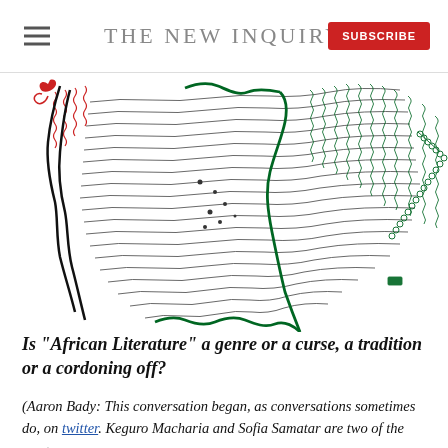THE NEW INQUIRY
[Figure (illustration): Abstract contour/topographic line drawing of what appears to be a map of Africa rendered in black, red, and green ink lines. The lines form wave-like contours with a bold green outline tracing the continent's shape, red lines in the upper left, and dense black contour lines throughout.]
Is "African Literature" a genre or a curse, a tradition or a cordoning off?
(Aaron Bady: This conversation began, as conversations sometimes do, on twitter. Keguro Macharia and Sofia Samatar are two of the most